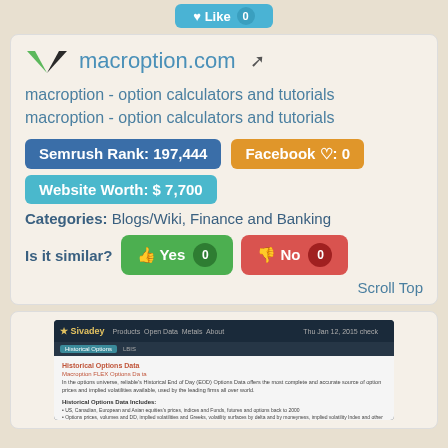[Figure (screenshot): Like button with count 0 at top]
macroption.com
macroption - option calculators and tutorials
macroption - option calculators and tutorials
Semrush Rank: 197,444
Facebook ♡: 0
Website Worth: $ 7,700
Categories: Blogs/Wiki, Finance and Banking
Is it similar?  Yes 0  No 0
Scroll Top
[Figure (screenshot): Screenshot of macroption.com website showing Historical Options Data page with navigation bar, date display, and content about US, Canadian, European and Asian equity options data]